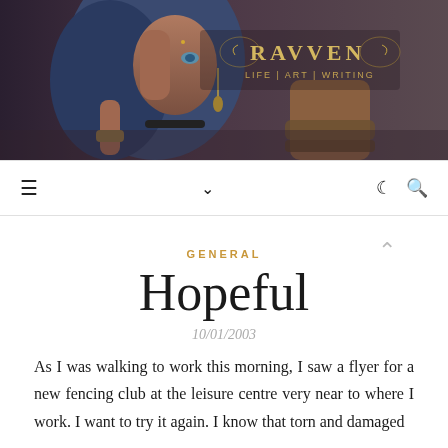[Figure (photo): Dark-toned blog header image showing a woman with blue hair, jewellery and bohemian accessories, with 'RAVVEN' logo text and 'LIFE | ART | WRITING' subtitle overlay]
≡  ∨  ☾  🔍
GENERAL
Hopeful
10/01/2003
As I was walking to work this morning, I saw a flyer for a new fencing club at the leisure centre very near to where I work. I want to try it again. I know that torn and damaged